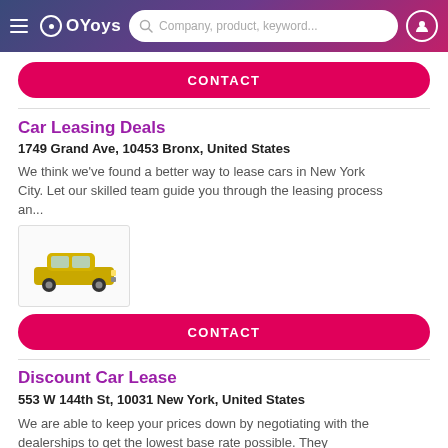OYoys — Company, product, keyword...
CONTACT
Car Leasing Deals
1749 Grand Ave, 10453 Bronx, United States
We think we've found a better way to lease cars in New York City. Let our skilled team guide you through the leasing process an...
[Figure (photo): Yellow SUV car thumbnail image]
CONTACT
Discount Car Lease
553 W 144th St, 10031 New York, United States
We are able to keep your prices down by negotiating with the dealerships to get the lowest base rate possible. They